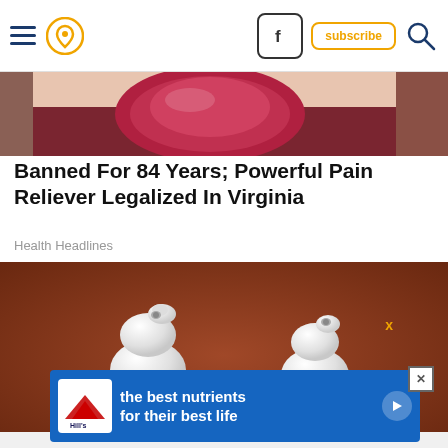Navigation header with hamburger menu, location icon, Facebook button, subscribe button, search icon
[Figure (photo): Close-up photo of a hand holding a dark red fruit (pomegranate or similar), cropped at top]
Banned For 84 Years; Powerful Pain Reliever Legalized In Virginia
Health Headlines
[Figure (photo): Two white ceramic figurines shaped like stacked rounds (resembling dog toys or gourd shapes) on a brown blurred background, with a Hill's pet food advertisement banner overlay reading 'the best nutrients for their best life']